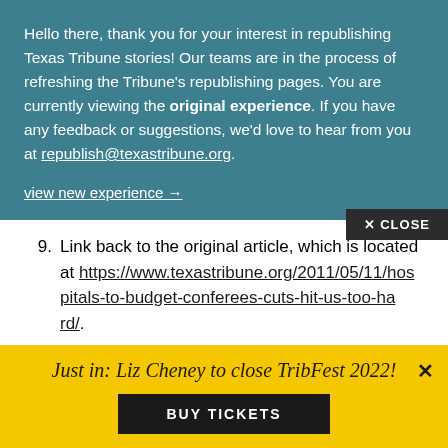Hello there, thank you for your interest in republishing Texas Tribune stories! Our teams are in the process of refreshing the Tribune's republishing pages. You are currently viewing the original experience. If you have any feedback or suggestions, we'd love to hear from you at republish@texastribune.org.
view new experience →
✕ CLOSE
9. Link back to the original article, which is located at https://www.texastribune.org/2011/05/11/hospitals-to-budget-conferees-cuts-hit-us-too-hard/.
Because The Texas Tribune allows any republisher
Just in: Liz Cheney to close TribFest 2022!
BUY TICKETS